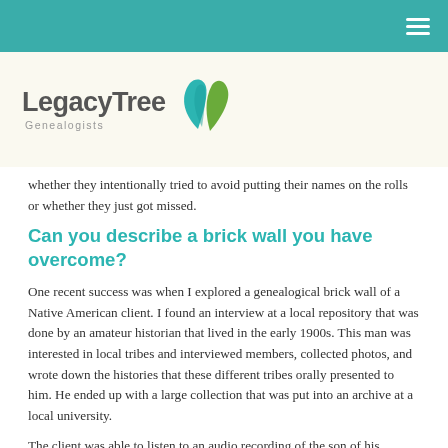LegacyTree Genealogists
[Figure (logo): LegacyTree Genealogists logo with teal and green leaf icon]
whether they intentionally tried to avoid putting their names on the rolls or whether they just got missed.
Can you describe a brick wall you have overcome?
One recent success was when I explored a genealogical brick wall of a Native American client. I found an interview at a local repository that was done by an amateur historian that lived in the early 1900s. This man was interested in local tribes and interviewed members, collected photos, and wrote down the histories that these different tribes orally presented to him. He ended up with a large collection that was put into an archive at a local university.
The client was able to listen to an audio recording of the son of his ancestor, who talked about their family, traditions, the way that they caught fish, and how they prepared food. He